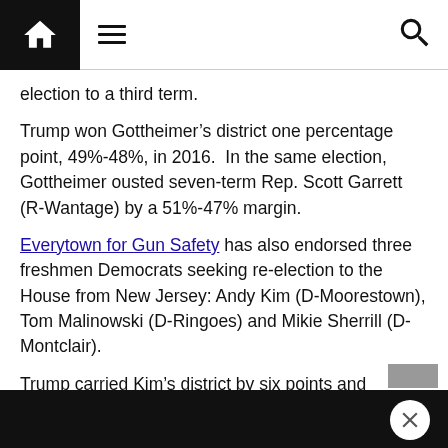Navigation bar with home icon, menu icon, and search icon
election to a third term.
Trump won Gottheimer’s district one percentage point, 49%-48%, in 2016.  In the same election, Gottheimer ousted seven-term Rep. Scott Garrett (R-Wantage) by a 51%-47% margin.
Everytown for Gun Safety has also endorsed three freshmen Democrats seeking re-election to the House from New Jersey: Andy Kim (D-Moorestown), Tom Malinowski (D-Ringoes) and Mikie Sherrill (D-Montclair).
Trump carried Kim’s district by six points and Sherrill’s by one point; Hillary Clinton won Malinowski’s district by one point four years ago.